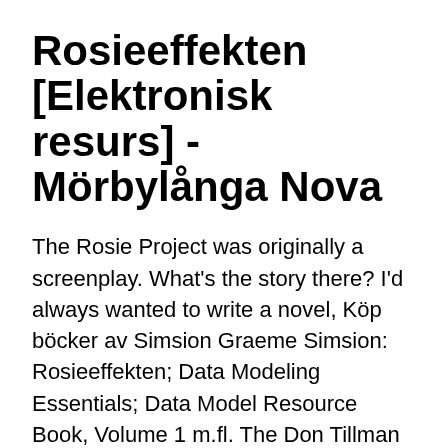Rosieeffekten [Elektronisk resurs] - Mörbylånga Nova
The Rosie Project was originally a screenplay. What's the story there? I'd always wanted to write a novel, Köp böcker av Simsion Graeme Simsion: Rosieeffekten; Data Modeling Essentials; Data Model Resource Book, Volume 1 m.fl. The Don Tillman series written by author Graeme Simsion is comprised of three books in total published between 2014 and 2019.
The Rosie Project – Graeme